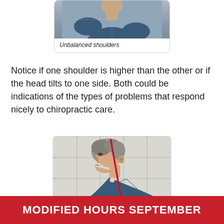[Figure (photo): Photo of person from behind showing unbalanced shoulders with grid overlay]
Unbalanced shoulders
Notice if one shoulder is higher than the other or if the head tilts to one side. Both could be indications of the types of problems that respond nicely to chiropractic care.
[Figure (photo): Side profile photo of older woman with gray hair showing forward head posture with a red diagonal line drawn from head down to shoulder area, overlaid on a grid background]
MODIFIED HOURS SEPTEMBER